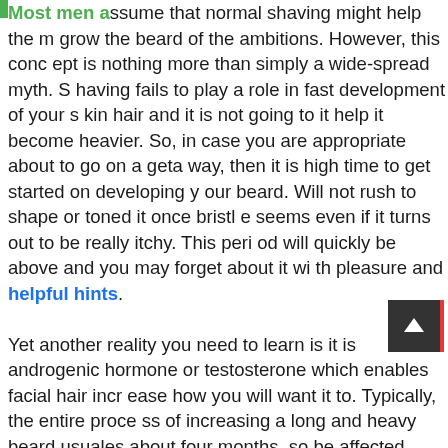Most men assume that normal shaving might help them grow the beard of the ambitions. However, this concept is nothing more than simply a wide-spread myth. Shaving fails to play a role in fast development of your skin hair and it is not going to it help it become heavier. So, in case you are appropriate about to go on a getaway, then it is high time to get started on developing your beard. Will not rush to shape or toned it once bristle seems even if it turns out to be really itchy. This period will quickly be above and you may forget about it with pleasure and helpful hints.

Yet another reality you need to learn is it is androgenic hormone or testosterone which enables facial hair increase how you will want it to. Typically, the entire process of increasing a long and heavy beard usually takes about four months, so be affected individual and quiet. In the event you nonetheless desire to make a move to produce this process far better, there is anything you are able to carry out to obtain your main goal. Firstly, y
[Figure (other): Scroll-to-top button: dark square with white upward arrow, red right border]